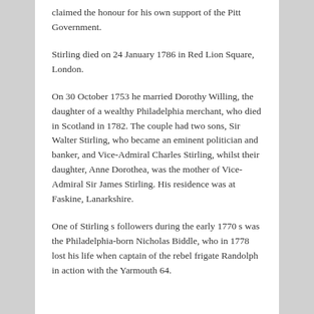claimed the honour for his own support of the Pitt Government.
Stirling died on 24 January 1786 in Red Lion Square, London.
On 30 October 1753 he married Dorothy Willing, the daughter of a wealthy Philadelphia merchant, who died in Scotland in 1782. The couple had two sons, Sir Walter Stirling, who became an eminent politician and banker, and Vice-Admiral Charles Stirling, whilst their daughter, Anne Dorothea, was the mother of Vice-Admiral Sir James Stirling. His residence was at Faskine, Lanarkshire.
One of Stirling s followers during the early 1770 s was the Philadelphia-born Nicholas Biddle, who in 1778 lost his life when captain of the rebel frigate Randolph in action with the Yarmouth 64.